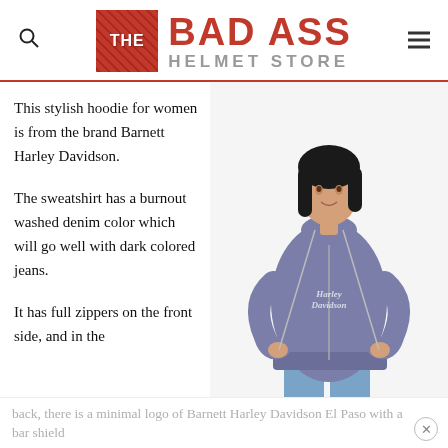THE BAD ASS HELMET STORE
This stylish hoodie for women is from the brand Barnett Harley Davidson.
The sweatshirt has a burnout washed denim color which will go well with dark colored jeans.
It has full zippers on the front side, and in the
[Figure (photo): Woman modeling a grey Harley Davidson zip-up hoodie sweatshirt, holding the drawstrings]
back, there is a minimal logo of Barnett Harley Davidson El Paso with a bar shield